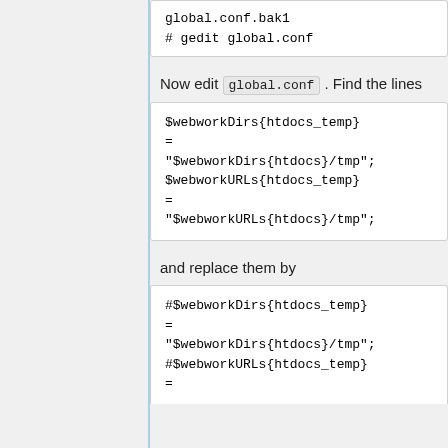global.conf.bak1
# gedit global.conf
Now edit global.conf . Find the lines
$webworkDirs{htdocs_temp}
=
"$webworkDirs{htdocs}/tmp";
$webworkURLs{htdocs_temp}
=
"$webworkURLs{htdocs}/tmp";
and replace them by
#$webworkDirs{htdocs_temp}
=
"$webworkDirs{htdocs}/tmp";
#$webworkURLs{htdocs_temp}
=